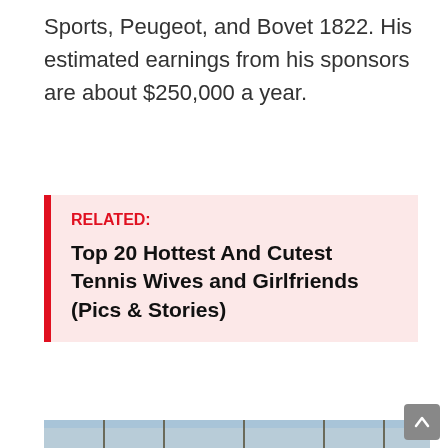Sports, Peugeot, and Bovet 1822. His estimated earnings from his sponsors are about $250,000 a year.
RELATED: Top 20 Hottest And Cutest Tennis Wives and Girlfriends (Pics & Stories)
[Figure (photo): A cyclist wearing a white helmet and MMR cycling jersey standing outdoors in front of bare winter trees]